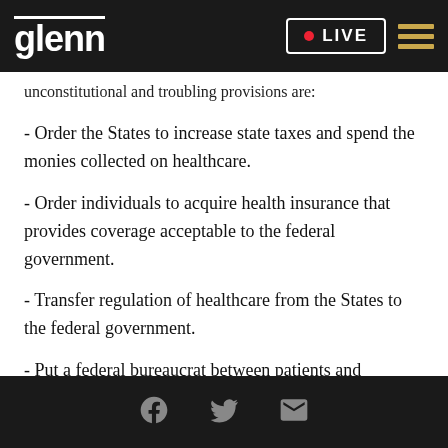glenn | LIVE
unconstitutional and troubling provisions are:
- Order the States to increase state taxes and spend the monies collected on healthcare.
- Order individuals to acquire health insurance that provides coverage acceptable to the federal government.
- Transfer regulation of healthcare from the States to the federal government.
- Put a federal bureaucrat between patients and physicians.
Social share icons: Facebook, Twitter, Email